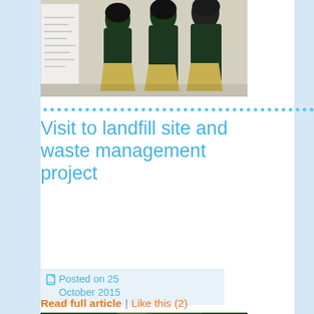[Figure (photo): Three school girls in dark green and yellow uniforms standing in front of a whiteboard]
Visit to landfill site and waste management project
Posted on 25 October 2015
Read full article  |  Like this (2)
[Figure (photo): Outdoor scene with green vegetation, partially visible at bottom of page]